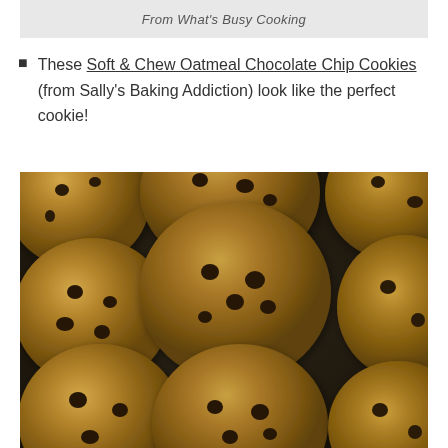From What's Busy Cooking
These Soft & Chew Oatmeal Chocolate Chip Cookies (from Sally's Baking Addiction) look like the perfect cookie!
[Figure (photo): Overhead photo of multiple oatmeal chocolate chip cookies arranged on a dark surface, showing golden-brown textured cookies with visible chocolate chips and oat pieces]